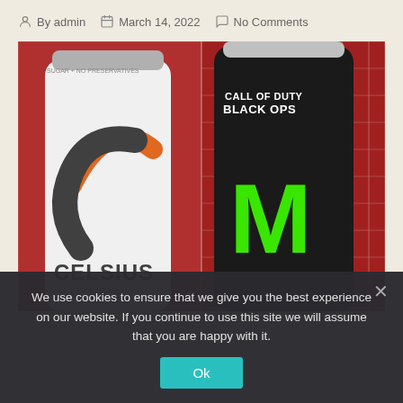By admin  March 14, 2022  No Comments
[Figure (photo): Two energy drink cans side by side against a red mosaic tile background. Left can is a white Celsius 'Live Fit' can with orange and gray branding. Right can is a black Monster Energy 'Call of Duty Black Ops' edition can with green Monster logo.]
We use cookies to ensure that we give you the best experience on our website. If you continue to use this site we will assume that you are happy with it.